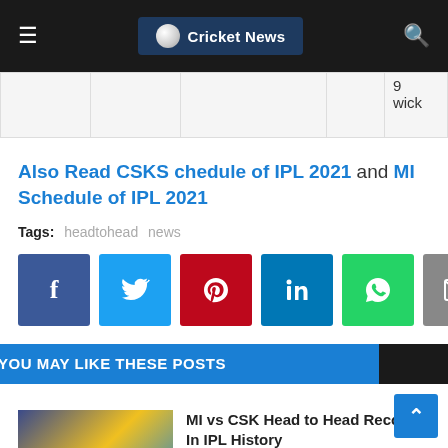Cricket News
|  |  |  |  | 9 wick |
Also Read CSKS chedule of IPL 2021 and MI Schedule of IPL 2021
Tags: headtohead  news
[Figure (infographic): Social share buttons: Facebook, Twitter, Pinterest, LinkedIn, WhatsApp, Email]
YOU MAY LIKE THESE POSTS
MI vs CSK Head to Head Record In IPL History
May 01, 2021